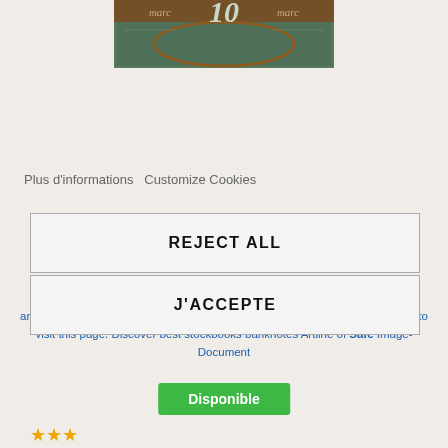[Figure (photo): Old German 10 Mark banknote with 'mare' text and ornate design in green and brown colors]
Plus d'informations   Customize Cookies
B... 10
Deutsche...
REJECT ALL
J'ACCEPTE
and collections of banknotes de by country of the whole world, do not hesitate to visit this page. Discover best stockbooks banknotes Artline of Safe Image-Document
Disponible
★★★